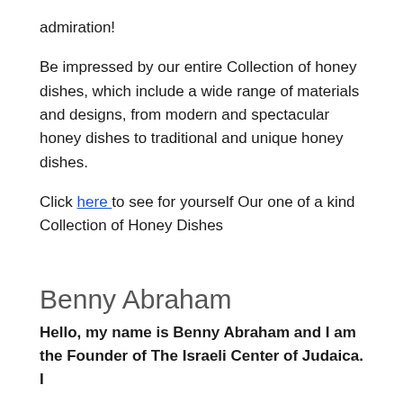admiration!
Be impressed by our entire Collection of honey dishes, which include a wide range of materials and designs, from modern and spectacular honey dishes to traditional and unique honey dishes.
Click here to see for yourself Our one of a kind Collection of Honey Dishes
Benny Abraham
Hello, my name is Benny Abraham and I am the Founder of The Israeli Center of Judaica. I